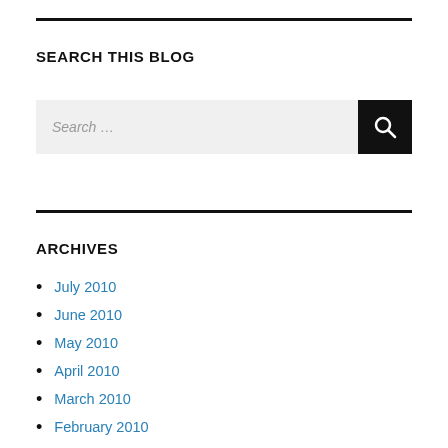SEARCH THIS BLOG
[Figure (other): Search input box with placeholder text 'Search ...' and a black search button with magnifying glass icon]
ARCHIVES
July 2010
June 2010
May 2010
April 2010
March 2010
February 2010